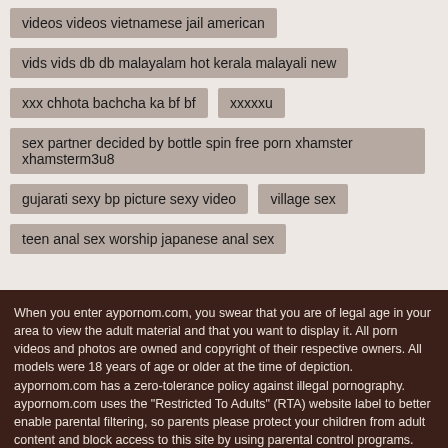videos videos vietnamese jail american
vids vids db db malayalam hot kerala malayali new
xxx chhota bachcha ka bf bf
xxxxxu
sex partner decided by bottle spin free porn xhamster xhamsterm3u8
gujarati sexy bp picture sexy video
village sex
teen anal sex worship japanese anal sex
When you enter aypornom.com, you swear that you are of legal age in your area to view the adult material and that you want to display it. All porn videos and photos are owned and copyright of their respective owners. All models were 18 years of age or older at the time of depiction. aypornom.com has a zero-tolerance policy against illegal pornography. aypornom.com uses the "Restricted To Adults" (RTA) website label to better enable parental filtering, so parents please protect your children from adult content and block access to this site by using parental control programs.
2020 © aypornom.com.